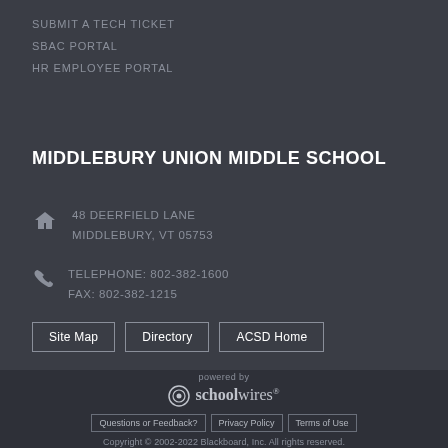SUBMIT A TECH TICKET
SBAC PORTAL
HR EMPLOYEE PORTAL
MIDDLEBURY UNION MIDDLE SCHOOL
48 DEERFIELD LANE
MIDDLEBURY, VT 05753
TELEPHONE: 802-382-1600
FAX: 802-382-1215
Site Map
Directory
ACSD Home
powered by schoolwires® Questions or Feedback? Privacy Policy Terms of Use Copyright © 2002-2022 Blackboard, Inc. All rights reserved.